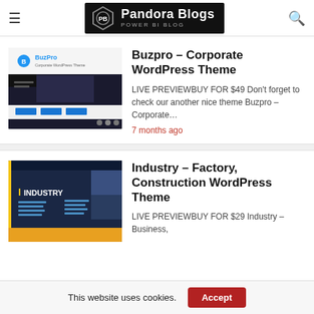Pandora Blogs – Power BI Blog
Buzpro – Corporate WordPress Theme
[Figure (screenshot): BuzPro Corporate WordPress Theme preview screenshot showing logo and website mockup]
LIVE PREVIEWBUY FOR $49 Don't forget to check our another nice theme Buzpro – Corporate…
7 months ago
Industry – Factory, Construction WordPress Theme
[Figure (screenshot): Industry Factory Construction WordPress Theme preview screenshot with dark navy background]
LIVE PREVIEWBUY FOR $29 Industry – Business,
This website uses cookies.  Accept